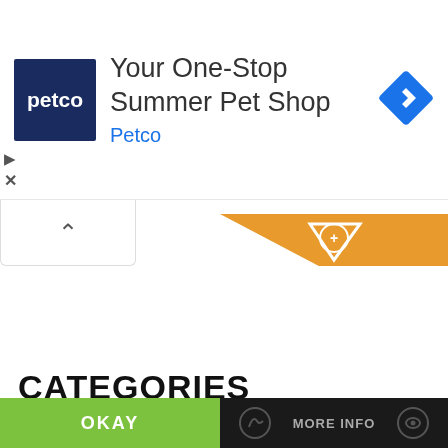[Figure (screenshot): Petco advertisement banner with blue logo showing 'petco' text, headline 'Your One-Stop Summer Pet Shop', subtitle 'Petco' in blue, and a blue navigation arrow diamond icon on the right]
[Figure (screenshot): Website UI showing collapse/chevron-up button on left and orange downward arrow chevron on right side]
CATEGORIES
This website uses cookies
OKAY
MORE INFO